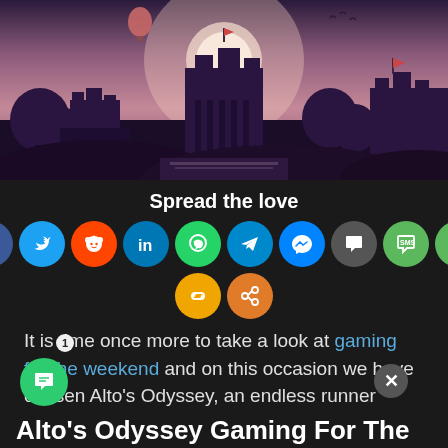[Figure (screenshot): Purple-toned fantasy game landscape (Alto's Odyssey) showing silhouetted castle, trees, and mountains against a glowing pink/purple sky with hot air balloon and moon.]
Spread the love
[Figure (other): Row of social sharing icon buttons: Facebook, Twitter, Reddit, LinkedIn, WhatsApp, Telegram, Messenger, Chat, SMS, Email, Copy Link, Share]
It is time once more to take a look at gaming for the weekend and on this occasion we have chosen Alto's Odyssey, an endless runner available on Apple Arcade.
Alto's Odyssey    Gaming For The